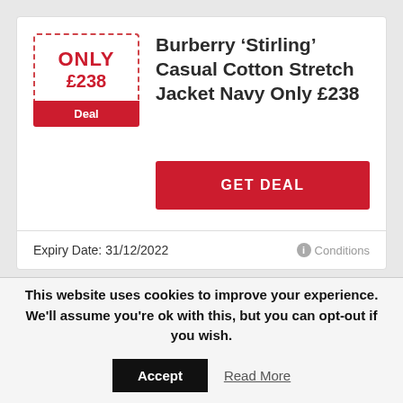[Figure (infographic): Deal badge showing ONLY £238 with red dashed border and red Deal label]
Burberry ‘Stirling’ Casual Cotton Stretch Jacket Navy Only £238
GET DEAL
Expiry Date: 31/12/2022
Conditions
Emporio Armani ‘K5’ Slim Fit
This website uses cookies to improve your experience. We’ll assume you’re ok with this, but you can opt-out if you wish.
Accept
Read More